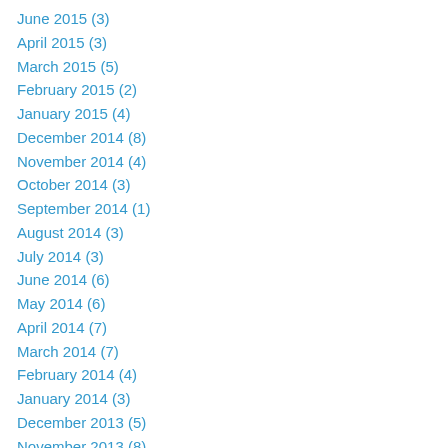June 2015 (3)
April 2015 (3)
March 2015 (5)
February 2015 (2)
January 2015 (4)
December 2014 (8)
November 2014 (4)
October 2014 (3)
September 2014 (1)
August 2014 (3)
July 2014 (3)
June 2014 (6)
May 2014 (6)
April 2014 (7)
March 2014 (7)
February 2014 (4)
January 2014 (3)
December 2013 (5)
November 2013 (8)
October 2013 (2)